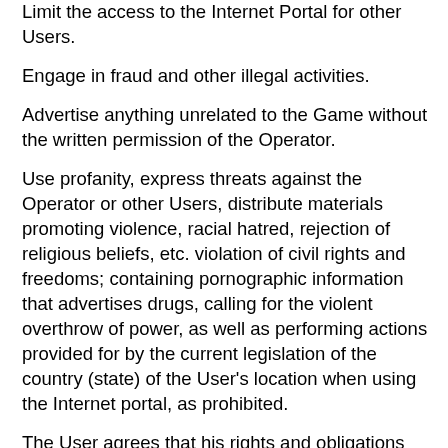Limit the access to the Internet Portal for other Users.
Engage in fraud and other illegal activities.
Advertise anything unrelated to the Game without the written permission of the Operator.
Use profanity, express threats against the Operator or other Users, distribute materials promoting violence, racial hatred, rejection of religious beliefs, etc. violation of civil rights and freedoms; containing pornographic information that advertises drugs, calling for the violent overthrow of power, as well as performing actions provided for by the current legislation of the country (state) of the User's location when using the Internet portal, as prohibited.
The User agrees that his rights and obligations can be changed / supplemented by the Operator, about which he can be notified by contact information specified during registration on the Internet portal, and in their absence - by any other means at the discretion of the Operator.